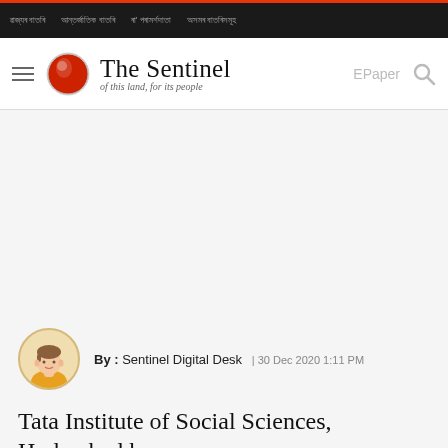ৱাজ্যৰ বাতৰি  আন্তৰ্জাতিক  ৰা' পৰামৰ্শদাতা  অসমৰ বাতৰিসমূহ
[Figure (logo): The Sentinel newspaper logo with tagline 'of this land, for its people']
By : Sentinel Digital Desk | 30 Dec 2020 1:11 PM
Tata Institute of Social Sciences, Hyderabad has